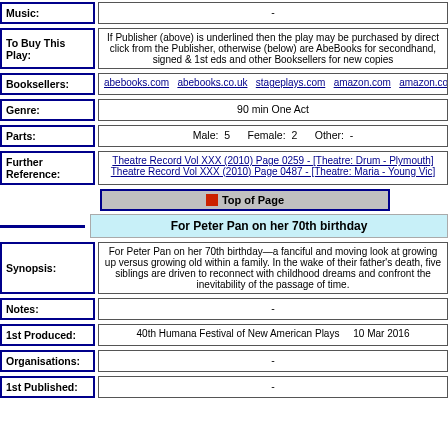| Field | Value |
| --- | --- |
| Music: | - |
| To Buy This Play: | If Publisher (above) is underlined then the play may be purchased by direct click from the Publisher, otherwise (below) are AbeBooks for secondhand, signed & 1st eds and other Booksellers for new copies |
| Booksellers: | abebooks.com  abebooks.co.uk  stageplays.com  amazon.com  amazon.co.uk  am... |
| Genre: | 90 min One Act |
| Parts: | Male:  5     Female:  2     Other:  - |
| Further Reference: | Theatre Record Vol XXX (2010) Page 0259 - [Theatre: Drum - Plymouth]
Theatre Record Vol XXX (2010) Page 0487 - [Theatre: Maria - Young Vic] |
Top of Page
For Peter Pan on her 70th birthday
| Field | Value |
| --- | --- |
| Synopsis: | For Peter Pan on her 70th birthday—a fanciful and moving look at growing up versus growing old within a family. In the wake of their father's death, five siblings are driven to reconnect with childhood dreams and confront the inevitability of the passage of time. |
| Notes: | - |
| 1st Produced: | 40th Humana Festival of New American Plays     10 Mar 2016 |
| Organisations: | - |
| 1st Published: | - |